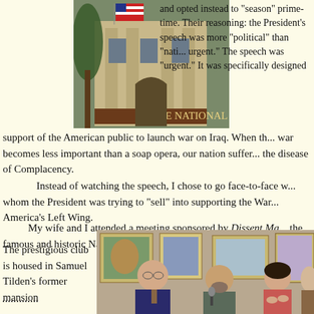[Figure (photo): Exterior of The National Arts Club building with American flag and trees visible]
and opted instead to "season" prime-time. Their reasoning: the President's speech was more "political" than "national urgent." The speech was "urgent." It was specifically designed support of the American public to launch war on Iraq. When the war becomes less important than a soap opera, our nation suffers the disease of Complacency.
Instead of watching the speech, I chose to go face-to-face with whom the President was trying to "sell" into supporting the War — America's Left Wing.
My wife and I attended a meeting sponsored by Dissent Ma... the famous and historic National Art Club in the Chelsea district... York City.
The prestigious club is housed in Samuel Tilden's former mansion...
[Figure (photo): Panel of speakers at a meeting at the National Arts Club, with artwork visible on the walls behind them]